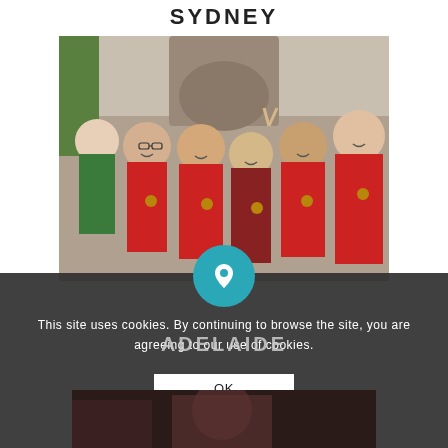SYDNEY
[Figure (photo): Group of women in red and black outfits smiling outside a building entrance, wearing medals]
[Figure (infographic): Cookie consent overlay with teal location pin circle icon, text reading 'This site uses cookies. By continuing to browse the site, you are agreeing to our use of cookies.' and an OK button]
ADELAIDE
[Figure (photo): Bottom strip of a photo for the Adelaide section, partially obscured by cookie overlay]